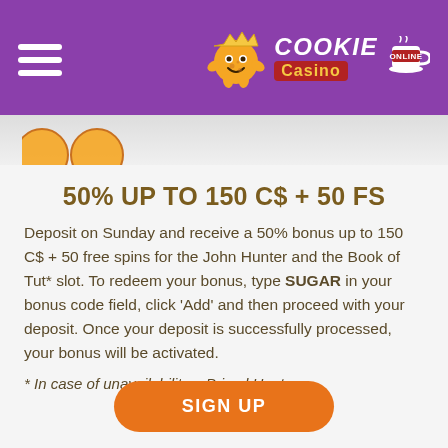Cookie Casino Online
[Figure (illustration): Partial view of cookie-shaped decorative icons at the top of the content area]
50% UP TO 150 C$ + 50 FS
Deposit on Sunday and receive a 50% bonus up to 150 C$ + 50 free spins for the John Hunter and the Book of Tut* slot. To redeem your bonus, type SUGAR in your bonus code field, click 'Add' and then proceed with your deposit. Once your deposit is successfully processed, your bonus will be activated.
* In case of unavailability – Primal Hunt